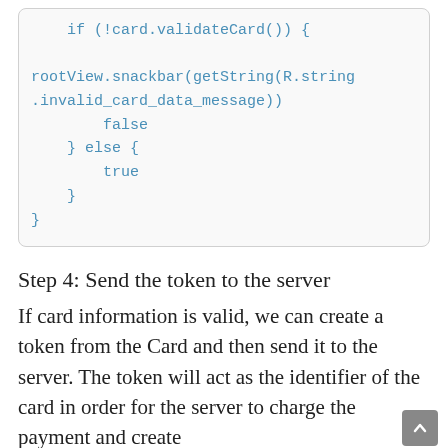[Figure (screenshot): Code block showing an if/else statement in monospace teal font on a light gray rounded box. Code: if (!card.validateCard()) { rootView.snackbar(getString(R.string.invalid_card_data_message)) false } else { true } }]
Step 4: Send the token to the server
If card information is valid, we can create a token from the Card and then send it to the server. The token will act as the identifier of the card in order for the server to charge the payment and create